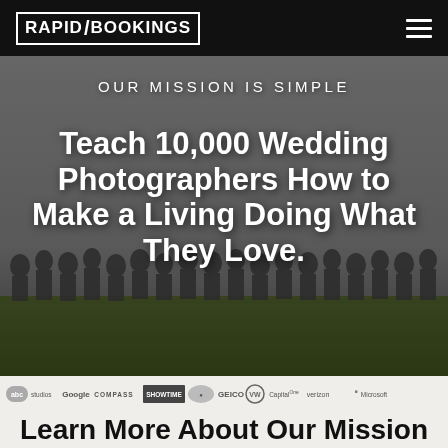RAPID/BOOKINGS
[Figure (photo): Group photo of many people (wedding photographers) gathered outdoors on a field, used as a hero background image]
OUR MISSION IS SIMPLE
Teach 10,000 Wedding Photographers How to Make a Living Doing What They Love.
[Figure (infographic): Row of company logos: abc studios, Google, COMPASS, SHOWTIME, Salesforce, GEICO, Volkswagen, Capital One, verizon, Microsoft]
Learn More About Our Mission